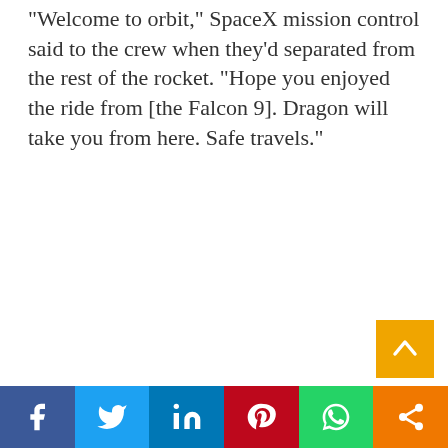“Welcome to orbit,” SpaceX mission control said to the crew when they’d separated from the rest of the rocket. “Hope you enjoyed the ride from [the Falcon 9]. Dragon will take you from here. Safe travels.”
[Figure (other): Back-to-top button (gold/yellow square with upward chevron arrow)]
[Figure (other): Social sharing bar with Facebook (blue), Twitter (light blue), LinkedIn (dark blue), Pinterest (red), WhatsApp (green), Share (orange) buttons]